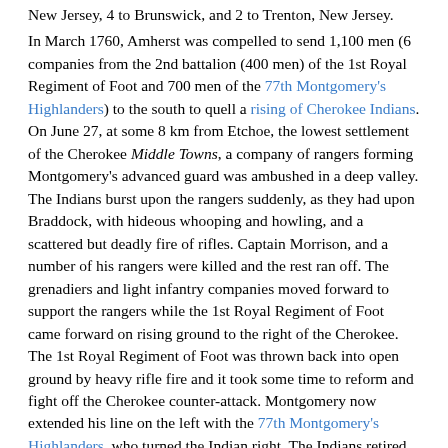New Jersey, 4 to Brunswick, and 2 to Trenton, New Jersey.
In March 1760, Amherst was compelled to send 1,100 men (6 companies from the 2nd battalion (400 men) of the 1st Royal Regiment of Foot and 700 men of the 77th Montgomery's Highlanders) to the south to quell a rising of Cherokee Indians. On June 27, at some 8 km from Etchoe, the lowest settlement of the Cherokee Middle Towns, a company of rangers forming Montgomery's advanced guard was ambushed in a deep valley. The Indians burst upon the rangers suddenly, as they had upon Braddock, with hideous whooping and howling, and a scattered but deadly fire of rifles. Captain Morrison, and a number of his rangers were killed and the rest ran off. The grenadiers and light infantry companies moved forward to support the rangers while the 1st Royal Regiment of Foot came forward on rising ground to the right of the Cherokee. The 1st Royal Regiment of Foot was thrown back into open ground by heavy rifle fire and it took some time to reform and fight off the Cherokee counter-attack. Montgomery now extended his line on the left with the 77th Montgomery's Highlanders, who turned the Indian right. The Indians retired from this advance and came into contact with the 1st Royal Regiment of Foot in a brisk encounter from which they retreated to a position on a hill from which they could not be dislodged. Montgomery ordered an advance through the pass and on to the town, but some of the Cherokee ran to warn the inhabitants to leave. Some of the warriors had got around his flanks and attacked his pack animals and supply train whose loss would cripple the army. This attack was eventually driven off. This engagement cost the British over 80 men